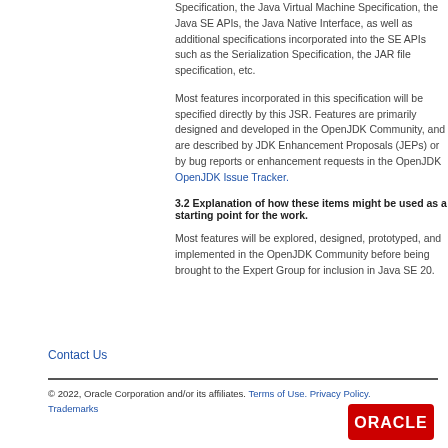Specification, the Java Virtual Machine Specification, the Java SE APIs, the Java Native Interface, as well as additional specifications incorporated into the SE APIs such as the Serialization Specification, the JAR file specification, etc.
Most features incorporated in this specification will be specified directly by this JSR. Features are primarily designed and developed in the OpenJDK Community, and are described by JDK Enhancement Proposals (JEPs) or by bug reports or enhancement requests in the OpenJDK OpenJDK Issue Tracker.
3.2 Explanation of how these items might be used as a starting point for the work.
Most features will be explored, designed, prototyped, and implemented in the OpenJDK Community before being brought to the Expert Group for inclusion in Java SE 20.
Contact Us
© 2022, Oracle Corporation and/or its affiliates. Terms of Use. Privacy Policy. Trademarks
[Figure (logo): Oracle logo - red rounded rectangle with white ORACLE text]